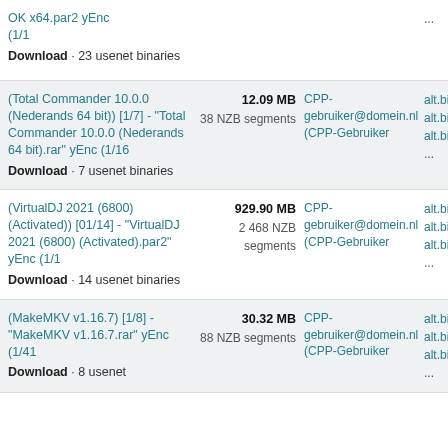OK x64.par2 yEnc (1/1 Download · 23 usenet binaries
(Total Commander 10.0.0 (Nederands 64 bit)) [1/7] - "Total Commander 10.0.0 (Nederands 64 bit).rar" yEnc (1/16 Download · 7 usenet binaries | 12.09 MB 38 NZB segments | CPP-gebruiker@domein.nl (CPP-Gebruiker | alt.binaries alt.binaries alt.binaries ...
(VirtualDJ 2021 (6800) (Activated)) [01/14] - "VirtualDJ 2021 (6800) (Activated).par2" yEnc (1/1 Download · 14 usenet binaries | 929.90 MB 2 468 NZB segments | CPP-gebruiker@domein.nl (CPP-Gebruiker | alt.binaries alt.binaries alt.binaries ...
(MakeMKV v1.16.7) [1/8] - "MakeMKV v1.16.7.rar" yEnc (1/41 Download · 8 usenet | 30.32 MB 88 NZB segments | CPP-gebruiker@domein.nl (CPP-Gebruiker | alt.binaries alt.binaries alt.binaries ...